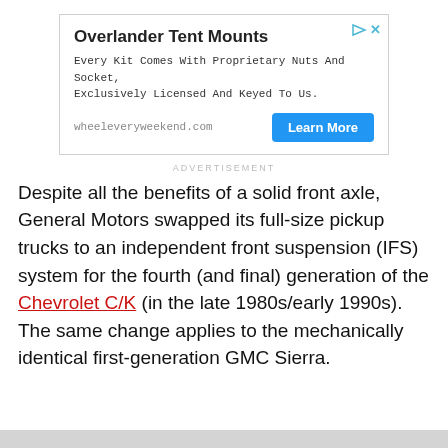[Figure (other): Advertisement banner for Overlander Tent Mounts with title, body text, URL, and Learn More button]
ADVERTISEMENT
Despite all the benefits of a solid front axle, General Motors swapped its full-size pickup trucks to an independent front suspension (IFS) system for the fourth (and final) generation of the Chevrolet C/K (in the late 1980s/early 1990s). The same change applies to the mechanically identical first-generation GMC Sierra.